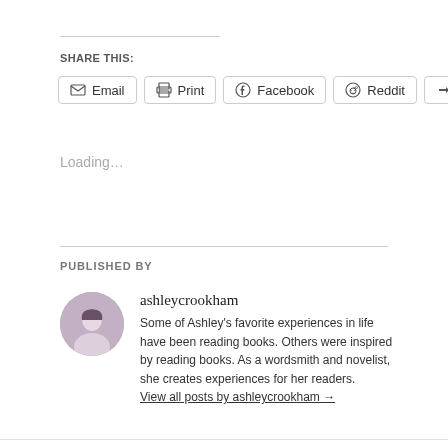SHARE THIS:
Email  Print  Facebook  Reddit  More
Loading...
PUBLISHED BY
ashleycrookham
Some of Ashley's favorite experiences in life have been reading books. Others were inspired by reading books. As a wordsmith and novelist, she creates experiences for her readers. View all posts by ashleycrookham →